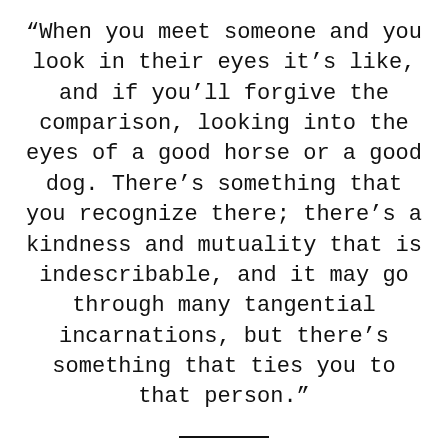“When you meet someone and you look in their eyes it’s like, and if you’ll forgive the comparison, looking into the eyes of a good horse or a good dog. There’s something that you recognize there; there’s a kindness and mutuality that is indescribable, and it may go through many tangential incarnations, but there’s something that ties you to that person.”
“It’s like… how you recognize your hands. I remember at one point being very young and looking down and